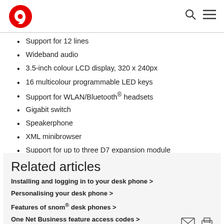Vodafone logo, search and menu icons
Support for 12 lines
Wideband audio
3.5-inch colour LCD display, 320 x 240px
16 multicolour programmable LED keys
Support for WLAN/Bluetooth® headsets
Gigabit switch
Speakerphone
XML minibrowser
Support for up to three D7 expansion module
Two USB ports
Related articles
Installing and logging in to your desk phone >
Personalising your desk phone >
Features of snom® desk phones >
One Net Business feature access codes >